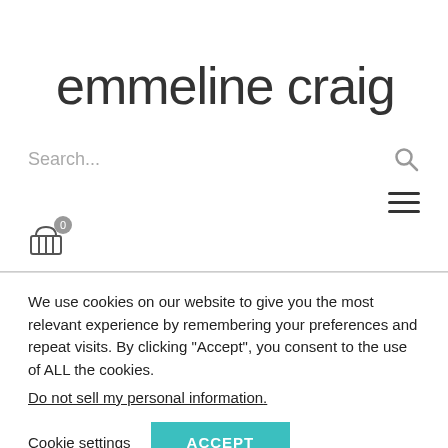emmeline craig
Search...
[Figure (screenshot): Shopping cart icon with badge showing 0 items]
We use cookies on our website to give you the most relevant experience by remembering your preferences and repeat visits. By clicking “Accept”, you consent to the use of ALL the cookies.
Do not sell my personal information.
Cookie settings   ACCEPT